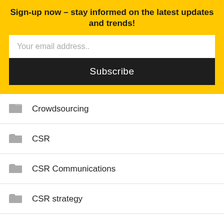Sign-up now – stay informed on the latest updates and trends!
Your email address..
Subscribe
Crowdsourcing
CSR
CSR Communications
CSR strategy
Culture
Data Analytics
Design Thinking